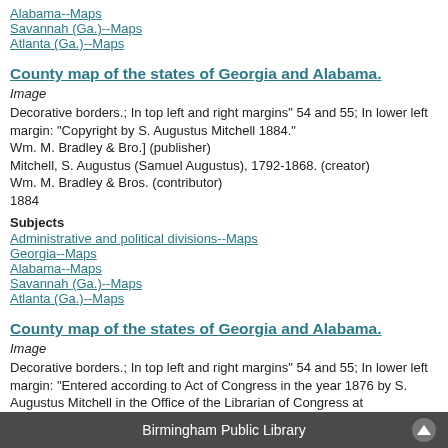Alabama--Maps
Savannah (Ga.)--Maps
Atlanta (Ga.)--Maps
County map of the states of Georgia and Alabama.
Image
Decorative borders.; In top left and right margins" 54 and 55; In lower left margin: "Copyright by S. Augustus Mitchell 1884."
Wm. M. Bradley & Bro.] (publisher)
Mitchell, S. Augustus (Samuel Augustus), 1792-1868. (creator)
Wm. M. Bradley & Bros. (contributor)
1884
Subjects
Administrative and political divisions--Maps
Georgia--Maps
Alabama--Maps
Savannah (Ga.)--Maps
Atlanta (Ga.)--Maps
County map of the states of Georgia and Alabama.
Image
Decorative borders.; In top left and right margins" 54 and 55; In lower left margin: "Entered according to Act of Congress in the year 1876 by S. Augustus Mitchell in the Office of the Librarian of Congress at Washington"
Mitchell] (publisher)
Mitchell, S. Augustus (Samuel Augustus), 1792-1868. (creator)
Wm. M. Bradley & Bros. (contributor)
1876
Birmingham Public Library